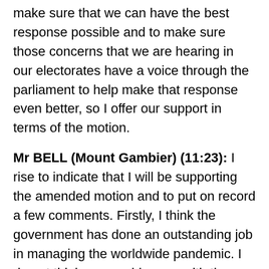make sure that we can have the best response possible and to make sure those concerns that we are hearing in our electorates have a voice through the parliament to help make that response even better, so I offer our support in terms of the motion.
Mr BELL (Mount Gambier) (11:23): I rise to indicate that I will be supporting the amended motion and to put on record a few comments. Firstly, I think the government has done an outstanding job in managing the worldwide pandemic. I do not think you could argue with the numbers as they sit at the moment, particularly when you look at the number of deaths around the world. This government's response has been exemplary and is also leading the world in many respects. That does not mean